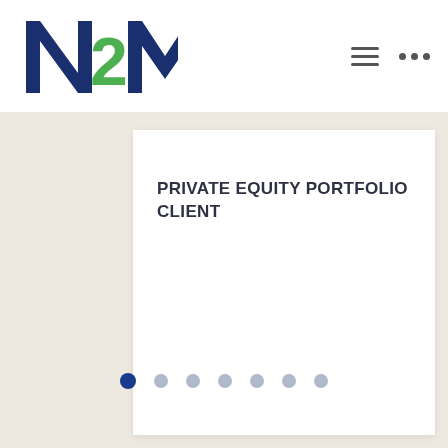[Figure (logo): N2M logo with navy blue N and M letters and green 2, displayed in the top navigation bar]
PRIVATE EQUITY PORTFOLIO CLIENT